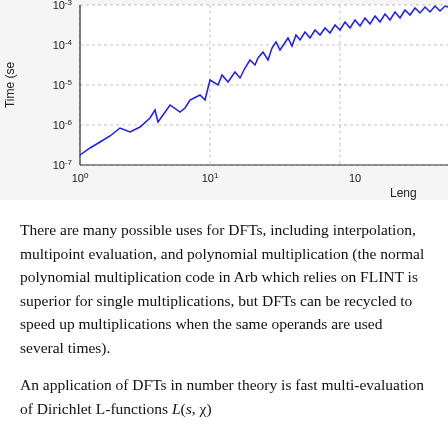[Figure (continuous-plot): Log-log plot showing Time (seconds) on y-axis (10^-7 to 10^-3) vs Length on x-axis (10^0 to 10^2+), with a blue line showing increasing timing values with noise/variability at higher lengths.]
There are many possible uses for DFTs, including interpolation, multipoint evaluation, and polynomial multiplication (the normal polynomial multiplication code in Arb which relies on FLINT is superior for single multiplications, but DFTs can be recycled to speed up multiplications when the same operands are used several times).
An application of DFTs in number theory is fast multi-evaluation of Dirichlet L-functions L(s, χ) for fixed s over the whole range of characters of a